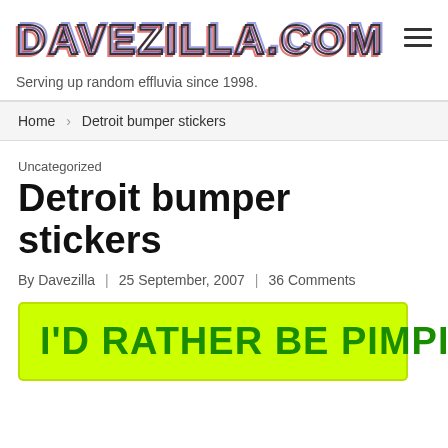DAVEZILLA.COM — Serving up random effluvia since 1998.
Home › Detroit bumper stickers
Uncategorized
Detroit bumper stickers
By Davezilla | 25 September, 2007 | 36 Comments
[Figure (photo): A bright yellow-green bumper sticker with bold dark green text reading: I'D RATHER BE PIMPIN']